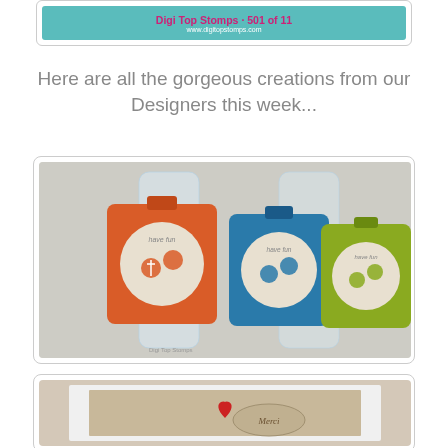[Figure (photo): Top banner image with teal/turquoise background showing text 'Digi Top Stomps' and website URL in pink/white text]
Here are all the gorgeous creations from our Designers this week...
[Figure (photo): Photo of three handmade water bottle tags with flip flop stamps - orange, blue, and green colored tags with circular medallions showing flip flop designs]
[Figure (photo): Photo of a framed kraft paper card with a red heart and stamped floral/oval design with text 'Merci']